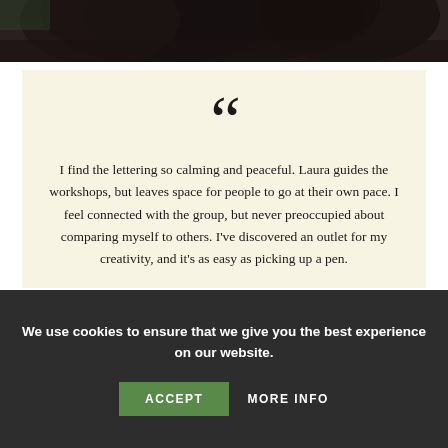[Figure (photo): Partial photo showing dark hair at top of page, cropped]
““ I find the lettering so calming and peaceful. Laura guides the workshops, but leaves space for people to go at their own pace. I feel connected with the group, but never preoccupied about comparing myself to others. I’ve discovered an outlet for my creativity, and it’s as easy as picking up a pen.
We use cookies to ensure that we give you the best experience on our website.
ACCEPT
MORE INFO